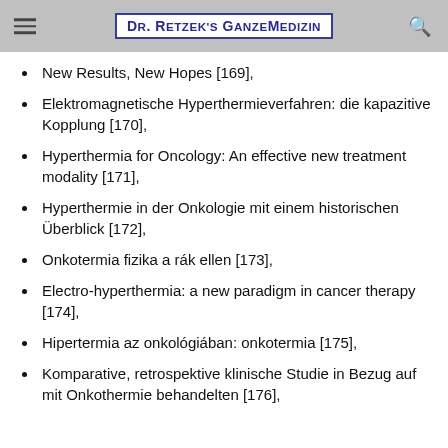Dr. Retzek's GanzeMedizin
New Results, New Hopes [169],
Elektromagnetische Hyperthermieverfahren: die kapazitive Kopplung [170],
Hyperthermia for Oncology: An effective new treatment modality [171],
Hyperthermie in der Onkologie mit einem historischen Überblick [172],
Onkotermia fizika a rák ellen [173],
Electro-hyperthermia: a new paradigm in cancer therapy [174],
Hipertermia az onkológiában: onkotermia [175],
Komparative, retrospektive klinische Studie in Bezug auf mit Onkothermie behandelten [176],